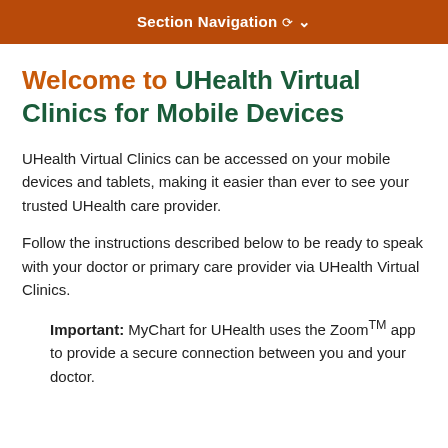Section Navigation ∨
Welcome to UHealth Virtual Clinics for Mobile Devices
UHealth Virtual Clinics can be accessed on your mobile devices and tablets, making it easier than ever to see your trusted UHealth care provider.
Follow the instructions described below to be ready to speak with your doctor or primary care provider via UHealth Virtual Clinics.
Important: MyChart for UHealth uses the Zoom™ app to provide a secure connection between you and your doctor.